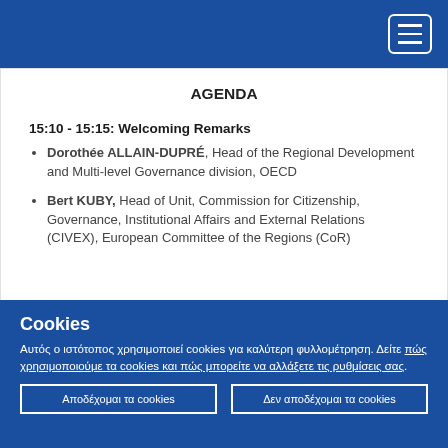AGENDA
15:10 - 15:15: Welcoming Remarks
Dorothée ALLAIN-DUPRÉ, Head of the Regional Development and Multi-level Governance division, OECD
Bert KUBY, Head of Unit, Commission for Citizenship, Governance, Institutional Affairs and External Relations (CIVEX), European Committee of the Regions (CoR)
Cookies
Αυτός ο ιστότοπος χρησιμοποιεί cookies για καλύτερη φυλλομέτρηση. Δείτε πώς χρησιμοποιούμε τα cookies και πώς μπορείτε να αλλάξετε τις ρυθμίσεις σας.
Αποδέχομαι τα cookies | Δεν αποδέχομαι τα cookies